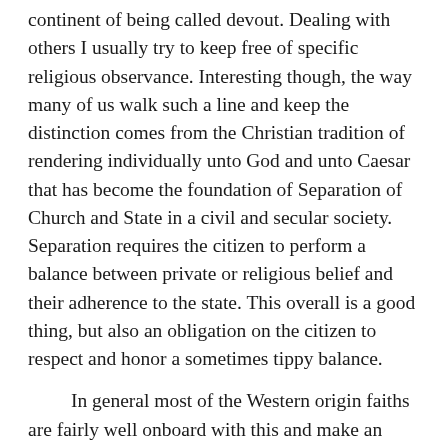continent of being called devout. Dealing with others I usually try to keep free of specific religious observance. Interesting though, the way many of us walk such a line and keep the distinction comes from the Christian tradition of rendering individually unto God and unto Caesar that has become the foundation of Separation of Church and State in a civil and secular society. Separation requires the citizen to perform a balance between private or religious belief and their adherence to the state. This overall is a good thing, but also an obligation on the citizen to respect and honor a sometimes tippy balance.
In general most of the Western origin faiths are fairly well onboard with this and make an effort, at least in outward reminders, to keep the injunctions of their faith from applying to others. Live and let live is a common expression that gives a version of the balance individuals in free and secular society regularly observe as they render here and render there on the weigh scale of rights. But now